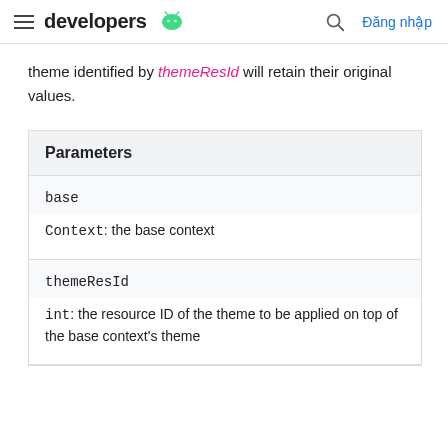developers  [Android logo]  Đăng nhập
theme identified by themeResId will retain their original values.
| Parameters |
| --- |
| base | Context: the base context |
| themeResId | int: the resource ID of the theme to be applied on top of the base context's theme |